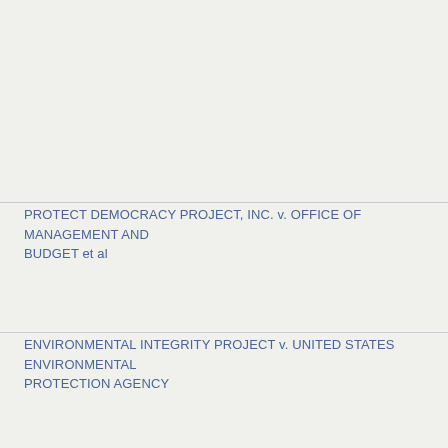PROTECT DEMOCRACY PROJECT, INC. v. OFFICE OF MANAGEMENT AND BUDGET et al
ENVIRONMENTAL INTEGRITY PROJECT v. UNITED STATES ENVIRONMENTAL PROTECTION AGENCY